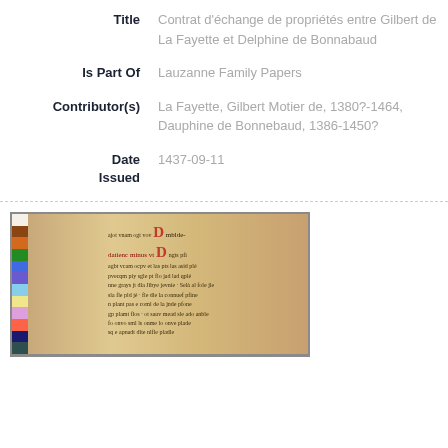| Field | Value |
| --- | --- |
| Title | Contrat d'échange de propriétés entre Gilbert de La Fayette et Delphine de Bonnabaud |
| Is Part Of | Lauzanne Family Papers |
| Contributor(s) | La Fayette, Gilbert Motier de, 1380?-1464, Dauphine de Bonnebaud, 1386-1450? |
| Date Issued | 1437-09-11 |
[Figure (photo): Manuscript page from a medieval document with cursive script in black ink and red decorative initials. A color calibration strip is visible on the left edge and a ruler strip along the spine.]